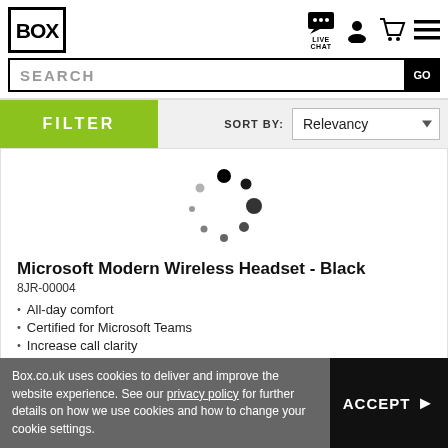[Figure (logo): Box.co.uk logo — black square border with BOX text inside]
[Figure (infographic): Header icons: live chat speech bubble, user/account icon, shopping cart icon, hamburger menu icon]
SEARCH
[Figure (infographic): Loading spinner — circular arrangement of black dots of varying sizes]
Microsoft Modern Wireless Headset - Black
8JR-00004
All-day comfort
Certified for Microsoft Teams
Increase call clarity
Long lasting battery
Flip to mute microphone
Convenient on-ear call controls
Box.co.uk uses cookies to deliver and improve the website experience. See our privacy policy for further details on how we use cookies and how to change your cookie settings.
ACCEPT